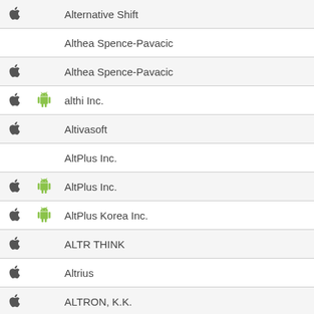| iOS | Android | Developer |
| --- | --- | --- |
| apple |  | Alternative Shift |
|  |  | Althea Spence-Pavacic |
| apple |  | Althea Spence-Pavacic |
| apple | android | althi Inc. |
| apple |  | Altivasoft |
|  |  | AltPlus Inc. |
| apple | android | AltPlus Inc. |
| apple | android | AltPlus Korea Inc. |
| apple |  | ALTR THINK |
| apple |  | Altrius |
| apple |  | ALTRON, K.K. |
| apple |  | Aluisio Ferrante |